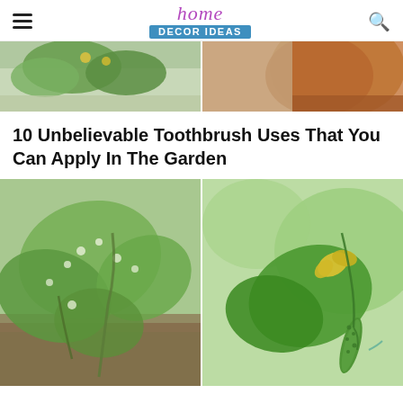home Decor Ideas
[Figure (photo): Two photos side by side: left shows green plant foliage with small yellow flowers, right shows a terracotta pot with dark soil]
10 Unbelievable Toothbrush Uses That You Can Apply In The Garden
[Figure (photo): Two garden photos side by side: left shows cucumber plant leaves with white spots/damage, right shows young cucumber with yellow flower still attached, growing on vine]